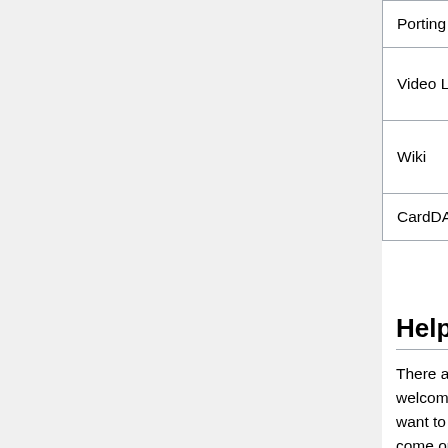| Role | Primary | Secondary |
| --- | --- | --- |
| Porting Lead | Christophe Chapuis (Tofe) | Ha... (He... |
| Video Lead | Matthew Van Gent (scoutcamper) |  |
| Wiki | Herman van Hazendonk (Herrie) | An... (Lo... |
| CardDAV/CalDAV | Achim Königs (Garfonso) | Ste... (ste... |
Help Needed
There are several areas within the project where help is welcome and required. Below we listed some parts. If you want to help with some of the points listed below just come or IRC #webos-ports and ping ka6sox or morphis.